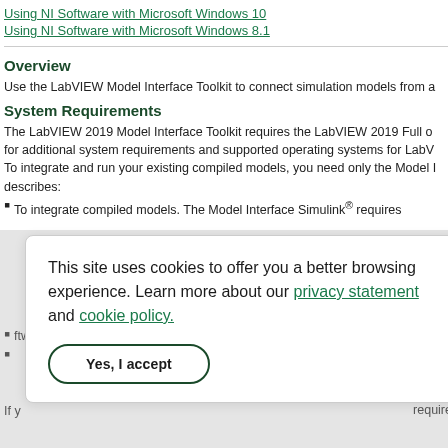Using NI Software with Microsoft Windows 10
Using NI Software with Microsoft Windows 8.1
Overview
Use the LabVIEW Model Interface Toolkit to connect simulation models from a
System Requirements
The LabVIEW 2019 Model Interface Toolkit requires the LabVIEW 2019 Full or for additional system requirements and supported operating systems for LabV. To integrate and run your existing compiled models, you need only the Model I describes:
To integrate compiled models. The Model Interface Simulink® requires software
ftware
installa d and an loa
If y require
This site uses cookies to offer you a better browsing experience. Learn more about our privacy statement and cookie policy.
Yes, I accept